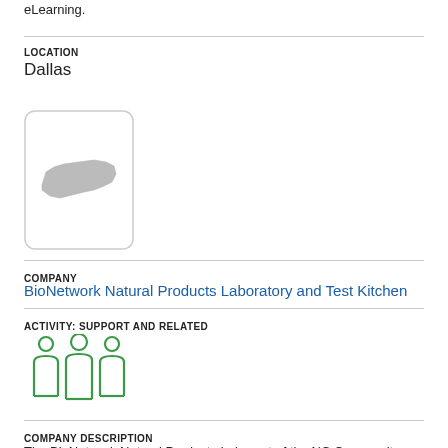eLearning.
LOCATION
Dallas
[Figure (map): Small map thumbnail showing a state outline (North Carolina) in a white rounded rectangle box]
COMPANY
BioNetwork Natural Products Laboratory and Test Kitchen
ACTIVITY: SUPPORT AND RELATED
[Figure (illustration): Green icon showing three people/figures standing together representing a group or team]
COMPANY DESCRIPTION
The BioNetwork Natural Products Lab, part of the NC Community